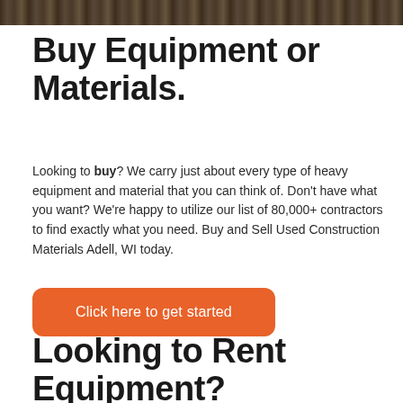[Figure (photo): Dark textured background photo strip at the top of the page (construction/equipment scene)]
Buy Equipment or Materials.
Looking to buy? We carry just about every type of heavy equipment and material that you can think of. Don't have what you want? We're happy to utilize our list of 80,000+ contractors to find exactly what you need. Buy and Sell Used Construction Materials Adell, WI today.
[Figure (other): Orange rounded button with text 'Click here to get started']
Looking to Rent Equipment?